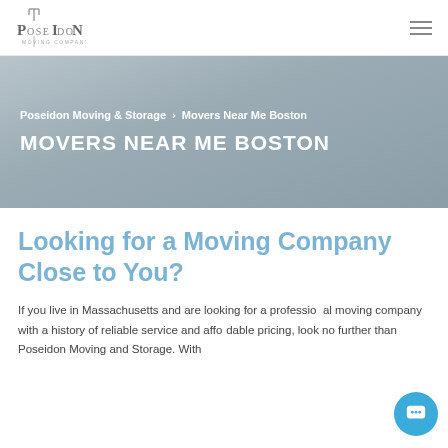Poseidon Moving & Storage — navigation header with logo and hamburger menu
[Figure (logo): Poseidon Moving & Storage logo with trident icon and company name text]
MOVERS NEAR ME BOSTON
Looking for a Moving Company Close to You?
If you live in Massachusetts and are looking for a professional moving company with a history of reliable service and affordable pricing, look no further than Poseidon Moving and Storage. With